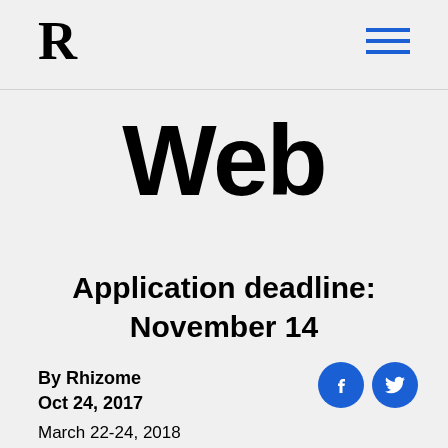R
Web
Application deadline: November 14
By Rhizome
Oct 24, 2017
March 22-24, 2018
New Museum